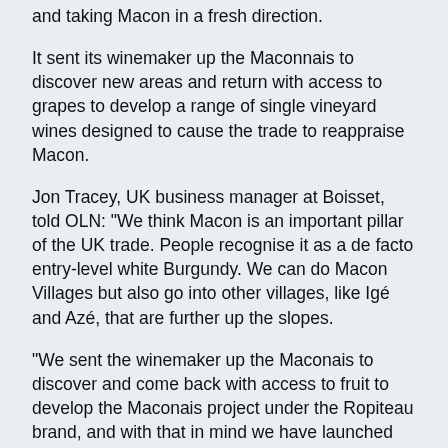and taking Macon in a fresh direction.
It sent its winemaker up the Maconnais to discover new areas and return with access to grapes to develop a range of single vineyard wines designed to cause the trade to reappraise Macon.
Jon Tracey, UK business manager at Boisset, told OLN: "We think Macon is an important pillar of the UK trade. People recognise it as a de facto entry-level white Burgundy. We can do Macon Villages but also go into other villages, like Igé and Azé, that are further up the slopes.
"We sent the winemaker up the Maconais to discover and come back with access to fruit to develop the Maconais project under the Ropiteau brand, and with that in mind we have launched Macon Igé, a single vineyard brand that won a gold medal at the IWC."